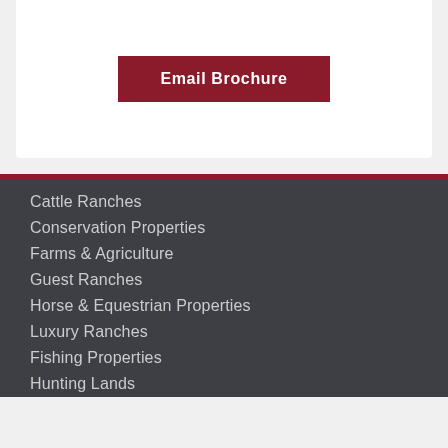Email Brochure
Cattle Ranches
Conservation Properties
Farms & Agriculture
Guest Ranches
Horse & Equestrian Properties
Luxury Ranches
Fishing Properties
Hunting Lands